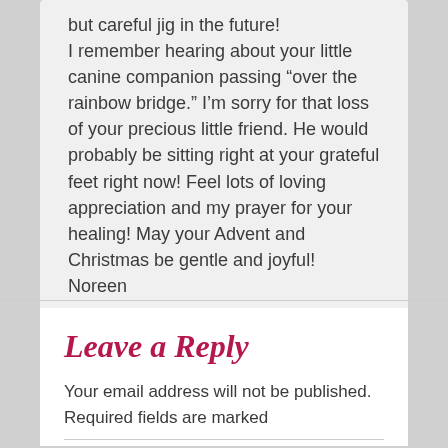but careful jig in the future! I remember hearing about your little canine companion passing “over the rainbow bridge.” I’m sorry for that loss of your precious little friend. He would probably be sitting right at your grateful feet right now! Feel lots of loving appreciation and my prayer for your healing! May your Advent and Christmas be gentle and joyful! Noreen
★ Like
Leave a Reply
Your email address will not be published. Required fields are marked